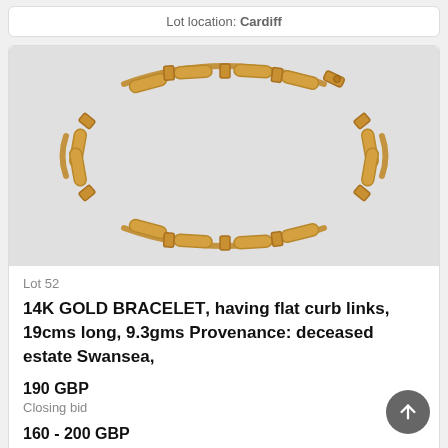Lot location: Cardiff
[Figure (photo): A 14K gold bracelet with flat curb links arranged in an oval shape on a light grey background.]
Lot 52
14K GOLD BRACELET, having flat curb links, 19cms long, 9.3gms Provenance: deceased estate Swansea,
190 GBP
Closing bid
160 - 200 GBP
Estimate